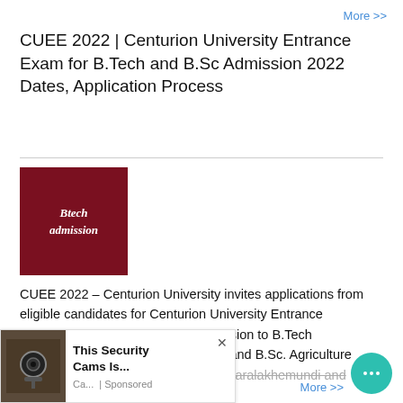More >>
CUEE 2022 | Centurion University Entrance Exam for B.Tech and B.Sc Admission 2022 Dates, Application Process
[Figure (illustration): Dark red square image with white italic text reading 'Btech admission']
CUEE 2022 – Centurion University invites applications from eligible candidates for Centurion University Entrance Examination (CUEE) 2022 for admission to B.Tech (Engineering), B. Tech (Agricultural) and B.Sc. Agriculture Courses 2022 for its Bhubaneswar, Paralakhemundi and Visakhapatnam Campus
[Figure (screenshot): Advertisement overlay showing a security camera image with text 'This Security Cams Is...' and 'Ca... | Sponsored']
More >>